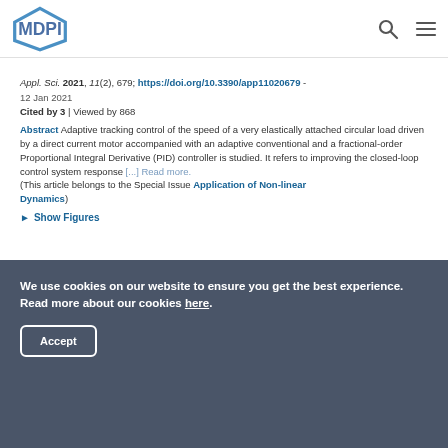MDPI
Appl. Sci. 2021, 11(2), 679; https://doi.org/10.3390/app11020679 - 12 Jan 2021
Cited by 3 | Viewed by 868
Abstract Adaptive tracking control of the speed of a very elastically attached circular load driven by a direct current motor accompanied with an adaptive conventional and a fractional-order Proportional Integral Derivative (PID) controller is studied. It refers to improving the closed-loop control system response [...] Read more. (This article belongs to the Special Issue Application of Non-linear Dynamics)
► Show Figures
We use cookies on our website to ensure you get the best experience. Read more about our cookies here. Accept